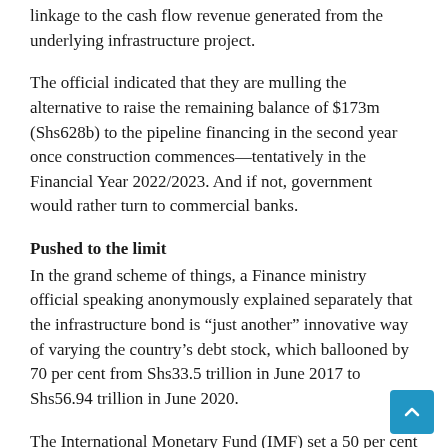linkage to the cash flow revenue generated from the underlying infrastructure project.
The official indicated that they are mulling the alternative to raise the remaining balance of $173m (Shs628b) to the pipeline financing in the second year once construction commences—tentatively in the Financial Year 2022/2023. And if not, government would rather turn to commercial banks.
Pushed to the limit
In the grand scheme of things, a Finance ministry official speaking anonymously explained separately that the infrastructure bond is “just another” innovative way of varying the country’s debt stock, which ballooned by 70 per cent from Shs33.5 trillion in June 2017 to Shs56.94 trillion in June 2020.
The International Monetary Fund (IMF) set a 50 per cent debt to GDP ratio threshold for developing countries but Uganda is currently inching past 49 per cent. Several developing countries including next door Kenya have over-shot the 50 per cent